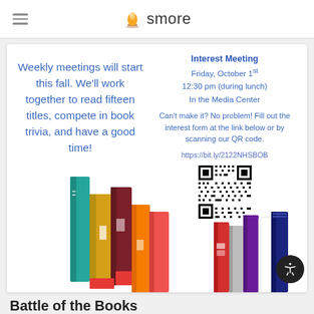smore
Weekly meetings will start this fall. We'll work together to read fifteen titles, compete in book trivia, and have a good time!
Interest Meeting
Friday, October 1st
12:30 pm (during lunch)
In the Media Center
Can't make it? No problem! Fill out the interest form at the link below or by scanning our QR code.
https://bit.ly/2122NHSBOB
[Figure (other): QR code for interest form at https://bit.ly/2122NHSBOB]
[Figure (illustration): Colorful stack of illustrated books]
Battle of the Books